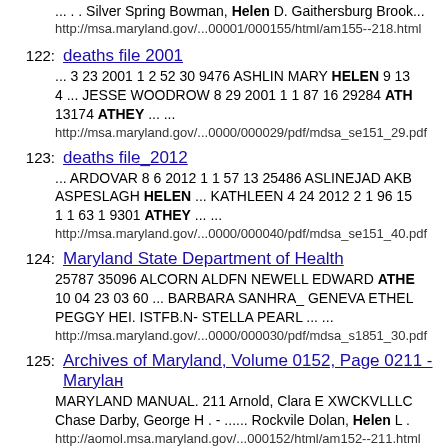... . . Silver Spring Bowman, Helen D. Gaithersburg Brook...
http://msa.maryland.gov/...00001/000155/html/am155--218.html
122: deaths file 2001
... 3 23 2001 1 2 52 30 9476 ASHLIN MARY HELEN 9 13 4 ... JESSE WOODROW 8 29 2001 1 1 87 16 29284 ATH 13174 ATHEY ... ...
http://msa.maryland.gov/...0000/000029/pdf/mdsa_se151_29.pdf
123: deaths file_2012
... ARDOVAR 8 6 2012 1 1 57 13 25486 ASLINEJAD AKB ASPESLAGH HELEN ... KATHLEEN 4 24 2012 2 1 96 15 1 1 63 1 9301 ATHEY ... ...
http://msa.maryland.gov/...0000/000040/pdf/mdsa_se151_40.pdf
124: Maryland State Department of Health
25787 35096 ALCORN ALDFN NEWELL EDWARD ATHE 10 04 23 03 60 ... BARBARA SANHRA_ GENEVA ETHEL PEGGY HEI. ISTFB.N- STELLA PEARL ... ...
http://msa.maryland.gov/...0000/000030/pdf/mdsa_s1851_30.pdf
125: Archives of Maryland, Volume 0152, Page 0211 - Marylан
MARYLAND MANUAL. 211 Arnold, Clara E XWCKVLLLC Chase Darby, George H . - ...... Rockvile Dolan, Helen L .
http://aomol.msa.maryland.gov/...000152/html/am152--211.html